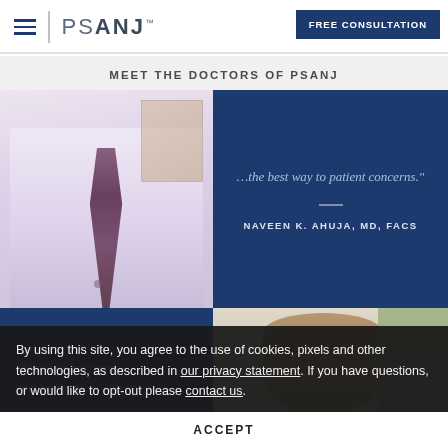PSANJ™ — FREE CONSULTATION
MEET THE DOCTORS OF PSANJ
[Figure (photo): Doctor in pink/lavender shirt with patterned tie, partial torso view]
concerns."
— NAVEEN K. AHUJA, MD, FACS
"Maintaining open communication with my
[Figure (photo): Male doctor headshot, light hair, partial face visible]
By using this site, you agree to the use of cookies, pixels and other technologies, as described in our privacy statement. If you have questions, or would like to opt-out please contact us.
ACCEPT